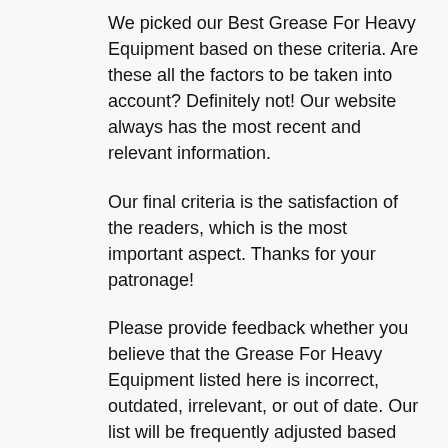We picked our Best Grease For Heavy Equipment based on these criteria. Are these all the factors to be taken into account? Definitely not! Our website always has the most recent and relevant information.
Our final criteria is the satisfaction of the readers, which is the most important aspect. Thanks for your patronage!
Please provide feedback whether you believe that the Grease For Heavy Equipment listed here is incorrect, outdated, irrelevant, or out of date. Our list will be frequently adjusted based upon your reasonable recommendations.